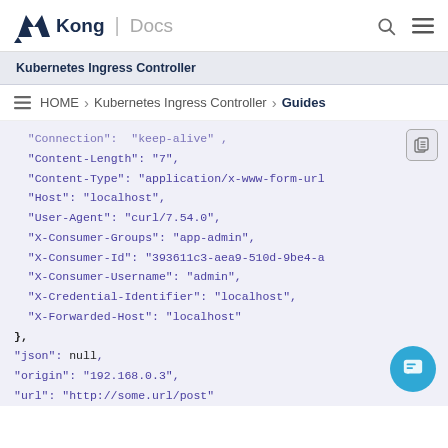Kong | Docs
Kubernetes Ingress Controller
HOME > Kubernetes Ingress Controller > Guides
"Connection": "keep-alive",
"Content-Length": "7",
"Content-Type": "application/x-www-form-url
"Host": "localhost",
"User-Agent": "curl/7.54.0",
"X-Consumer-Groups": "app-admin",
"X-Consumer-Id": "393611c3-aea9-510d-9be4-a
"X-Consumer-Username": "admin",
"X-Credential-Identifier": "localhost",
"X-Forwarded-Host": "localhost"
},
"json": null,
"origin": "192.168.0.3",
"url": "http://some.url/post"